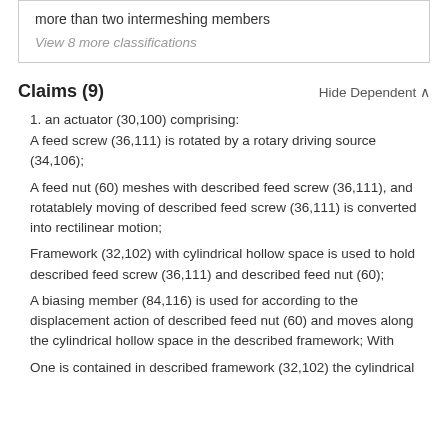more than two intermeshing members
View 8 more classifications
Claims (9)
Hide Dependent ^
1. an actuator (30,100) comprising:
A feed screw (36,111) is rotated by a rotary driving source (34,106);
A feed nut (60) meshes with described feed screw (36,111), and rotatablely moving of described feed screw (36,111) is converted into rectilinear motion;
Framework (32,102) with cylindrical hollow space is used to hold described feed screw (36,111) and described feed nut (60);
A biasing member (84,116) is used for according to the displacement action of described feed nut (60) and moves along the cylindrical hollow space in the described framework; With
One is contained in described framework (32,102) the cylindrical sliding member (74) that allows rectilinear motion;